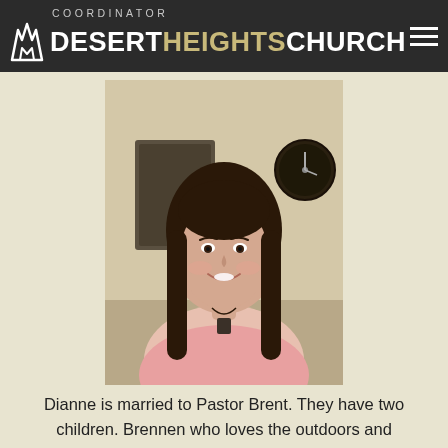COORDINATOR
DESERT HEIGHTS CHURCH
[Figure (photo): Portrait photo of Dianne, a woman with long dark hair wearing a pink top and a dark pendant necklace, smiling at the camera in an indoor setting.]
Dianne is married to Pastor Brent. They have two children. Brennen who loves the outdoors and Bethanie who loves dance. Dianne was raised in Bloomfield, New Mexico. She has a Bachelor's degree in Elementary Education from the University of New Mexico. Dianne...